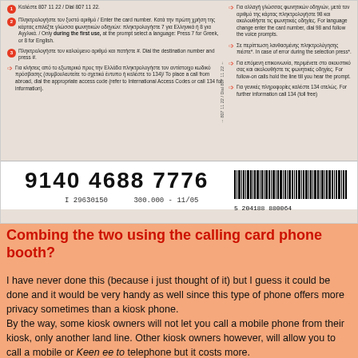[Figure (photo): Greek calling card showing instructions in Greek and English, a card number 9140 4688 7776, serial number I 29630150, and a barcode with number 5 204188 880064]
Combing the two using the calling card phone booth?
I have never done this (because i just thought of it) but I guess it could be done and it would be very handy as well since this type of phone offers more privacy sometimes than a kiosk phone.
By the way, some kiosk owners will not let you call a mobile phone from their kiosk, only another land line. Other kiosk owners however, will allow you to call a mobile or Keen ee to telephone but it costs more.